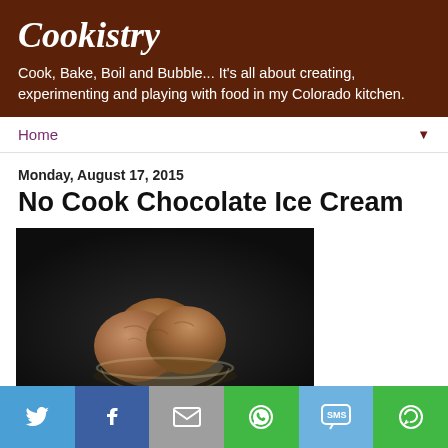Cookistry
Cook, Bake, Boil and Bubble... It's all about creating, experimenting and playing with food in my Colorado kitchen.
Home
Monday, August 17, 2015
No Cook Chocolate Ice Cream
[Figure (photo): Scoops of chocolate ice cream in a glass bowl against a dark background]
Social share bar with Twitter, Facebook, Email, WhatsApp, SMS, and More buttons